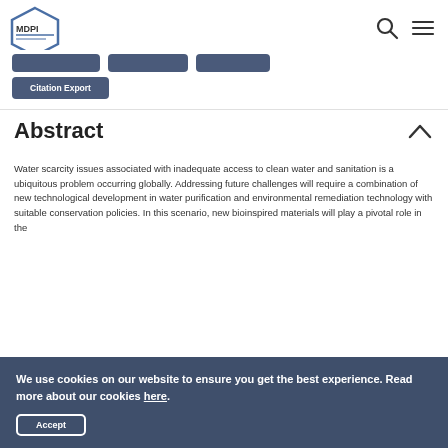[Figure (logo): MDPI logo — hexagonal outline with text MDPI inside]
[Figure (other): Three partially-visible dark blue navigation buttons and search/menu icons in header]
Citation Export
Abstract
Water scarcity issues associated with inadequate access to clean water and sanitation is a ubiquitous problem occurring globally. Addressing future challenges will require a combination of new technological development in water purification and environmental remediation technology with suitable conservation policies. In this scenario, new bioinspired materials will play a pivotal role in the
We use cookies on our website to ensure you get the best experience. Read more about our cookies here.
Accept